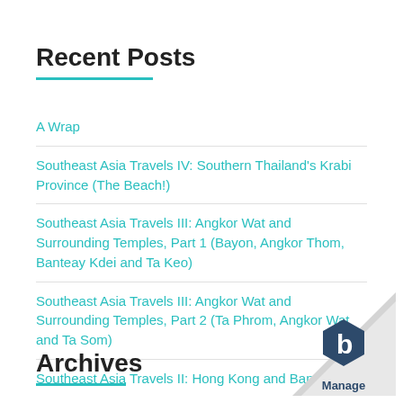Recent Posts
A Wrap
Southeast Asia Travels IV: Southern Thailand’s Krabi Province (The Beach!)
Southeast Asia Travels III: Angkor Wat and Surrounding Temples, Part 1 (Bayon, Angkor Thom, Banteay Kdei and Ta Keo)
Southeast Asia Travels III: Angkor Wat and Surrounding Temples, Part 2 (Ta Phrom, Angkor Wat and Ta Som)
Southeast Asia Travels II: Hong Kong and Bangkok
Archives
[Figure (logo): Manage logo with hexagonal icon and page curl effect in bottom right corner]